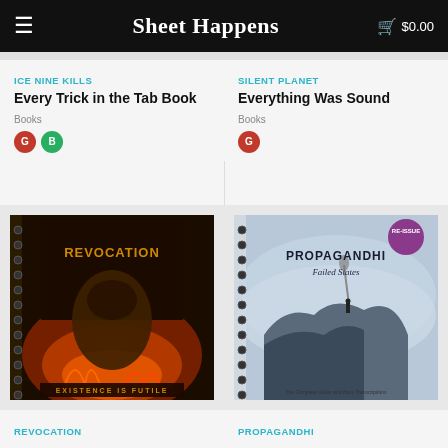Sheet Happens   $0.00
ICE NINE KILLS
Every Trick in the Tab Book
Books
SILENT PLANET
Everything Was Sound
Books
[Figure (photo): Revocation spiral-bound tab book with dark fantasy/metal album artwork showing a large monster and flames, titled 'Existence Is Futile']
[Figure (photo): Propagandhi 'Failed States' spiral-bound tab book with a purple RE-ISSUE badge, showing a person standing on a cliff in misty mountains]
REVOCATION
PROPAGANDHI